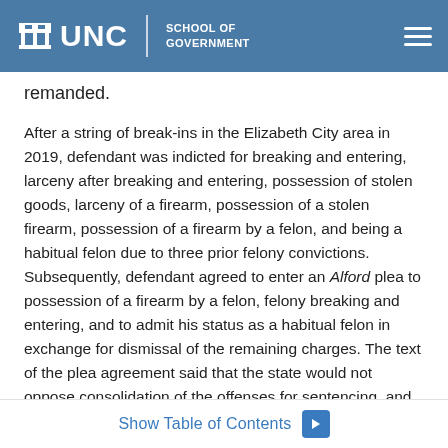UNC School of Government
remanded.
After a string of break-ins in the Elizabeth City area in 2019, defendant was indicted for breaking and entering, larceny after breaking and entering, possession of stolen goods, larceny of a firearm, possession of a stolen firearm, possession of a firearm by a felon, and being a habitual felon due to three prior felony convictions. Subsequently, defendant agreed to enter an Alford plea to possession of a firearm by a felon, felony breaking and entering, and to admit his status as a habitual felon in exchange for dismissal of the remaining charges. The text of the plea agreement said that the state would not oppose consolidation of the offenses for sentencing, and that defendant would
Show Table of Contents